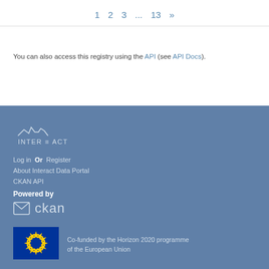1  2  3  ...  13  »
You can also access this registry using the API (see API Docs).
[Figure (logo): INTER=ACT logo with stylized skyline/waveform graphic above text]
Log in  Or  Register
About Interact Data Portal
CKAN API
Powered by
[Figure (logo): CKAN logo — envelope icon and 'ckan' text in white]
[Figure (logo): EU flag — blue background with circle of yellow stars]
Co-funded by the Horizon 2020 programme of the European Union